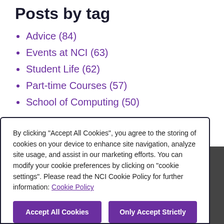Posts by tag
Advice (84)
Events at NCI (63)
Student Life (62)
Part-time Courses (57)
School of Computing (50)
See all
By clicking "Accept All Cookies", you agree to the storing of cookies on your device to enhance site navigation, analyze site usage, and assist in our marketing efforts. You can modify your cookie preferences by clicking on "cookie settings". Please read the NCI Cookie Policy for further information: Cookie Policy
Accept All Cookies
Only Accept Strictly